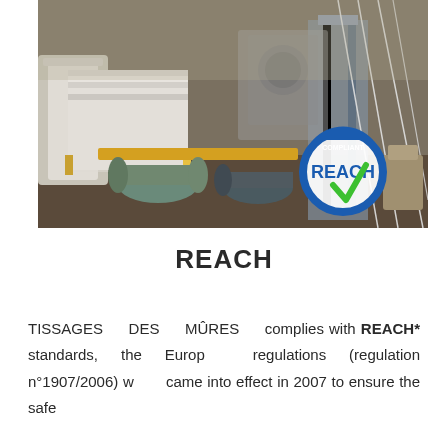[Figure (photo): Industrial textile/weaving factory floor with rolls of fabric and machinery. A REACH COMPLIANT circular logo with a blue border and green checkmark is overlaid in the lower-right portion of the photo.]
REACH
TISSAGES DES MÛRES complies with REACH* standards, the European regulations (regulation n°1907/2006) which came into effect in 2007 to ensure the safe